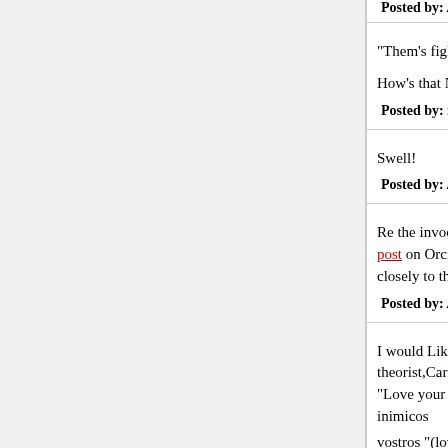Posted by: Anarch | February 26, 2005 at 12:54 PM
"Them's fightin' words!"
How's that Nobel Prize for Literature entry coming
Posted by: rilkefan | February 26, 2005 at 01:11 PM
Swell!
Posted by: Anarch | February 26, 2005 at 01:30 PM
Re the invocation and dismissal of David Neiwert post on Orcinus detailing his particular views. The closely to the usual pat summations (either pro or
Posted by: Anarch | February 26, 2005 at 08:15 PM
I would Like to simply relate a fact pointed out by theorist,Carl Schimtt in his book "Concept of the P "Love your enemies"(Matt 5:44;Lukee 6:27)reads inimicos
vostros "(love your private enemies) and not "dili